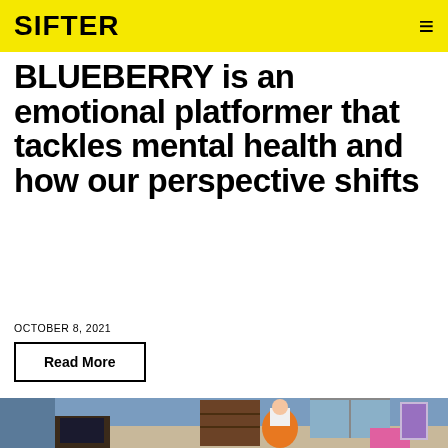SIFTER
BLUEBERRY is an emotional platformer that tackles mental health and how our perspective shifts
OCTOBER 8, 2021
Read More
[Figure (screenshot): Pixel art game screenshot showing an isometric room with a character in an orange dress standing near a bookshelf and window, with a TV on the left side of the room]